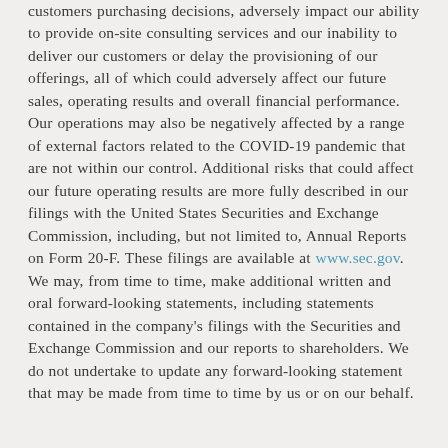customers purchasing decisions, adversely impact our ability to provide on-site consulting services and our inability to deliver our customers or delay the provisioning of our offerings, all of which could adversely affect our future sales, operating results and overall financial performance. Our operations may also be negatively affected by a range of external factors related to the COVID-19 pandemic that are not within our control. Additional risks that could affect our future operating results are more fully described in our filings with the United States Securities and Exchange Commission, including, but not limited to, Annual Reports on Form 20-F. These filings are available at www.sec.gov. We may, from time to time, make additional written and oral forward-looking statements, including statements contained in the company's filings with the Securities and Exchange Commission and our reports to shareholders. We do not undertake to update any forward-looking statement that may be made from time to time by us or on our behalf.